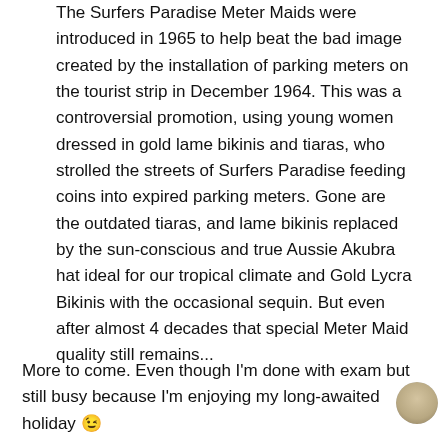The Surfers Paradise Meter Maids were introduced in 1965 to help beat the bad image created by the installation of parking meters on the tourist strip in December 1964. This was a controversial promotion, using young women dressed in gold lame bikinis and tiaras, who strolled the streets of Surfers Paradise feeding coins into expired parking meters. Gone are the outdated tiaras, and lame bikinis replaced by the sun-conscious and true Aussie Akubra hat ideal for our tropical climate and Gold Lycra Bikinis with the occasional sequin. But even after almost 4 decades that special Meter Maid quality still remains...
More to come. Even though I'm done with exam but still busy because I'm enjoying my long-awaited holiday 😉